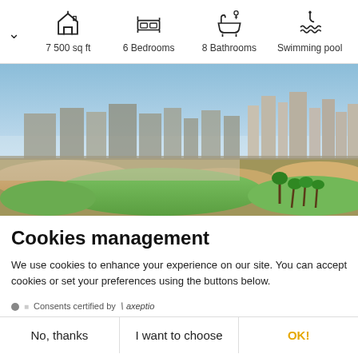7 500 sq ft
6 Bedrooms
8 Bathrooms
Swimming pool
[Figure (photo): Aerial view of a golf course with sandy areas, green fairways, palm trees, and modern high-rise buildings in the background under a clear blue sky. Dubai real estate property photo.]
Cookies management
We use cookies to enhance your experience on our site. You can accept cookies or set your preferences using the buttons below.
Consents certified by Axeptio
No, thanks | I want to choose | OK!